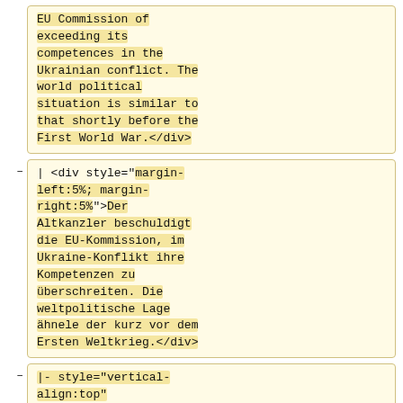EU Commission of exceeding its competences in the Ukrainian conflict. The world political situation is similar to that shortly before the First World War.</div>
| <div style="margin-left:5%; margin-right:5%">Der Altkanzler beschuldigt die EU-Kommission, im Ukraine-Konflikt ihre Kompetenzen zu überschreiten. Die weltpolitische Lage ähnele der kurz vor dem Ersten Weltkrieg.</div>
|- style="vertical-align:top"
| <div style="margin-left:5%; margin-